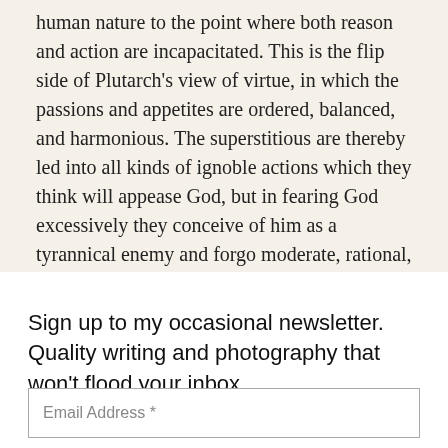human nature to the point where both reason and action are incapacitated. This is the flip side of Plutarch's view of virtue, in which the passions and appetites are ordered, balanced, and harmonious. The superstitious are thereby led into all kinds of ignoble actions which they think will appease God, but in fearing God excessively they conceive of him as a tyrannical enemy and forgo moderate, rational, practical action.25 By contrast, the atheist simply remains deaf to the divine music.
Sign up to my occasional newsletter. Quality writing and photography that won't flood your inbox.
Email Address *